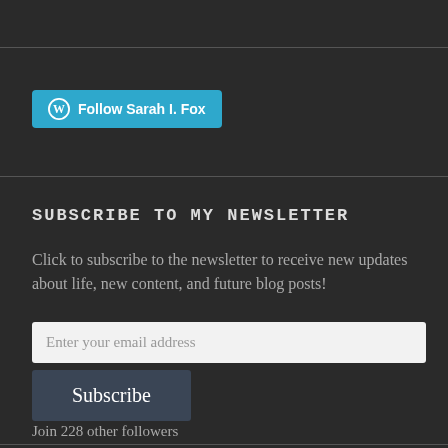[Figure (other): WordPress Follow button with cyan background reading 'Follow Sarah I. Fox']
SUBSCRIBE TO MY NEWSLETTER
Click to subscribe to the newsletter to receive new updates about life, new content, and future blog posts!
Enter your email address
Subscribe
Join 228 other followers